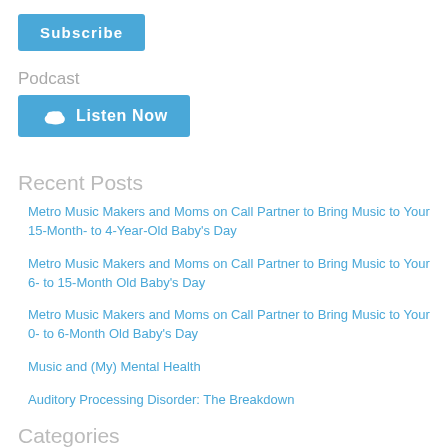[Figure (other): Blue Subscribe button]
Podcast
[Figure (other): Blue Listen Now button with cloud/SoundCloud icon]
Recent Posts
Metro Music Makers and Moms on Call Partner to Bring Music to Your 15-Month- to 4-Year-Old Baby's Day
Metro Music Makers and Moms on Call Partner to Bring Music to Your 6- to 15-Month Old Baby's Day
Metro Music Makers and Moms on Call Partner to Bring Music to Your 0- to 6-Month Old Baby's Day
Music and (My) Mental Health
Auditory Processing Disorder: The Breakdown
Categories
Adaptive Lessons
Behind The Scenes